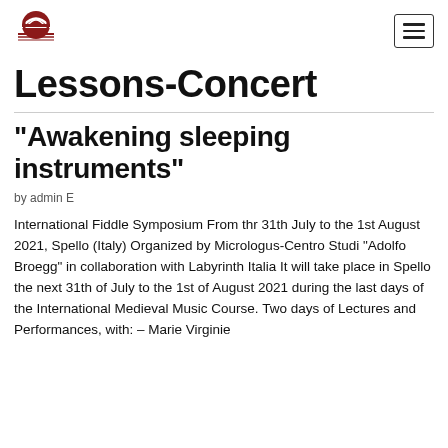[Figure (logo): Red arch/bridge logo in top left corner]
[Figure (other): Hamburger menu button (three horizontal lines in a rectangle border) in top right corner]
Lessons-Concert
“Awakening sleeping instruments”
by admin E
International Fiddle Symposium From thr 31th July to the 1st August 2021, Spello (Italy) Organized by Micrologus-Centro Studi “Adolfo Broegg” in collaboration with Labyrinth Italia It will take place in Spello the next 31th of July to the 1st of August 2021 during the last days of the International Medieval Music Course. Two days of Lectures and Performances, with: – Marie Virginie